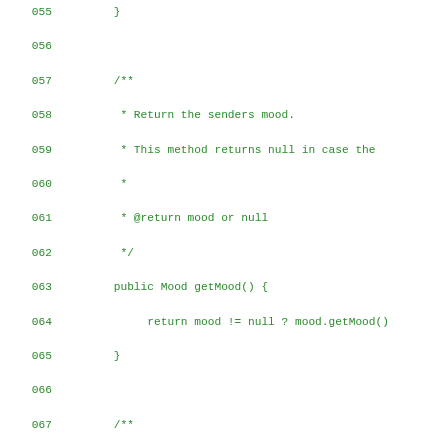[Figure (screenshot): Source code snippet showing Java class methods with line numbers 055-083, displayed in green monospace font on white background. Contains Javadoc comments and method implementations for getMood(), getText(), and hasText().]